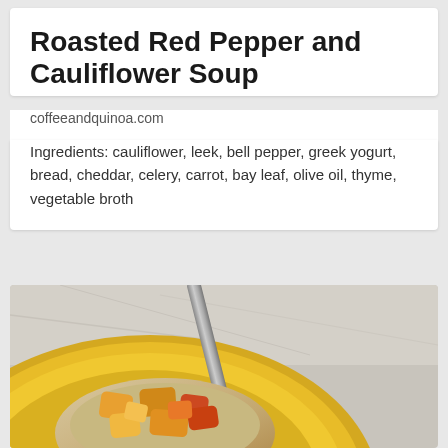Roasted Red Pepper and Cauliflower Soup
coffeeandquinoa.com
Ingredients: cauliflower, leek, bell pepper, greek yogurt, bread, cheddar, celery, carrot, bay leaf, olive oil, thyme, vegetable broth
[Figure (photo): A yellow plate with a bread wrap filled with colorful roasted vegetable pieces including orange, red and yellow chunks, with a metal utensil resting on the plate, on a light marble/grey background.]